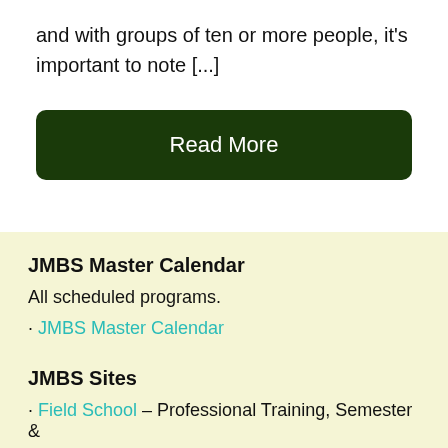and with groups of ten or more people, it's important to note [...]
Read More
JMBS Master Calendar
All scheduled programs.
· JMBS Master Calendar
JMBS Sites
· Field School – Professional Training, Semester &